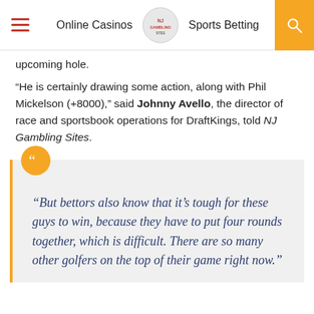Online Casinos | Sports Betting
upcoming hole.
“He is certainly drawing some action, along with Phil Mickelson (+8000),” said Johnny Avello, the director of race and sportsbook operations for DraftKings, told NJ Gambling Sites.
“But bettors also know that it’s tough for these guys to win, because they have to put four rounds together, which is difficult. There are so many other golfers on the top of their game right now.”